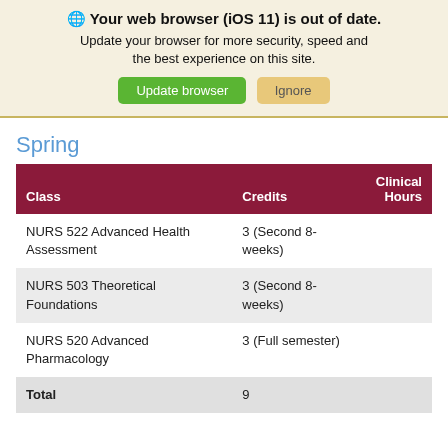🌐 Your web browser (iOS 11) is out of date. Update your browser for more security, speed and the best experience on this site. [Update browser] [Ignore]
Spring
| Class | Credits | Clinical Hours |
| --- | --- | --- |
| NURS 522 Advanced Health Assessment | 3 (Second 8-weeks) |  |
| NURS 503 Theoretical Foundations | 3 (Second 8-weeks) |  |
| NURS 520 Advanced Pharmacology | 3 (Full semester) |  |
| Total | 9 |  |